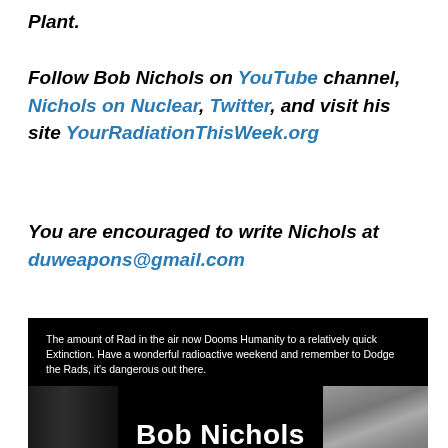Plant.
Follow Bob Nichols on YouTube channel, Nichols on Nuclear, Twitter, and visit his site YourRadiationThisWeek.org
You are encouraged to write Nichols at duweapons@gmail.com
[Figure (photo): Black background image with white text quote about radiation dooming humanity, a columnist card showing 'Bob Nichols columnist' with a portrait photo, and a 'MILLION A WEEK CLUB' section with review sources and links at the bottom.]